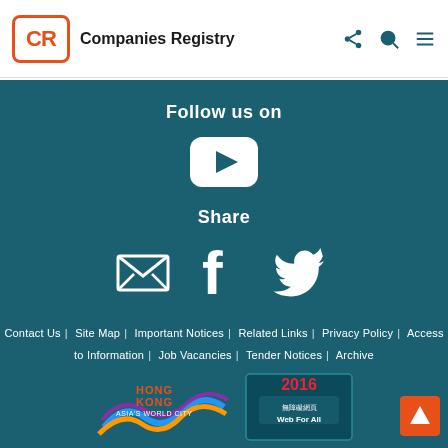CR Companies Registry
Follow us on
[Figure (logo): YouTube play button icon in white]
Share
[Figure (illustration): Email envelope icon, Facebook f icon, Twitter bird icon in white]
Contact Us | Site Map | Important Notices | Related Links | Privacy Policy | Access to Information | Job Vacancies | Tender Notices | Archive
[Figure (logo): Hong Kong Asia's World City logo, Web For All 2016 badge, back-to-top button]